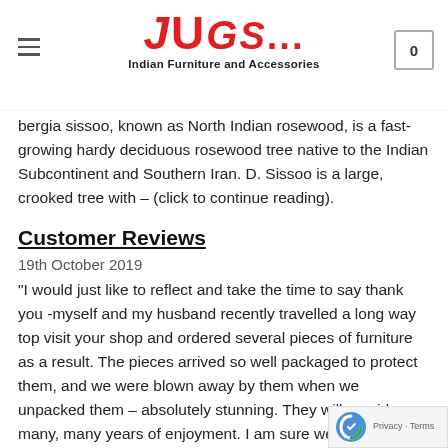JUGs... Indian Furniture and Accessories
Dalbergia sissoo, known as North Indian rosewood, is a fast-growing hardy deciduous rosewood tree native to the Indian Subcontinent and Southern Iran. D. Sissoo is a large, crooked tree with – (click to continue reading).
Customer Reviews
19th October 2019
“I would just like to reflect and take the time to say thank you -myself and my husband recently travelled a long way top visit your shop and ordered several pieces of furniture as a result. The pieces arrived so well packaged to protect them, and we were blown away by them when we unpacked them – absolutely stunning. They will provide many, many years of enjoyment. I am sure we will visit again in the future as a result and will be sure to infirm others kind regards,”
Claire